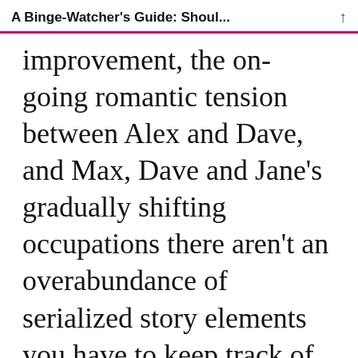A Binge-Watcher's Guide: Shoul...
improvement, the on-going romantic tension between Alex and Dave, and Max, Dave and Jane's gradually shifting occupations there aren't an overabundance of serialized story elements you have to keep track of. That being said, unlike many sitcoms Happy Endings was remarkably self-assured from the get-go meaning it's
Advertisements
[Figure (infographic): Advertisement banner for Pocket Casts app: red background with text 'An app by listeners, for listeners.' and Pocket Casts logo on the right, phone image in the middle.]